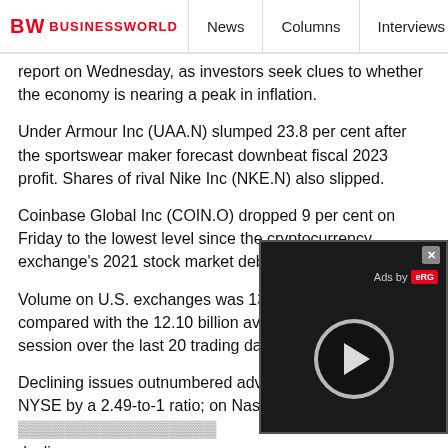BW BUSINESSWORLD | News | Columns | Interviews | BW
report on Wednesday, as investors seek clues to whether the economy is nearing a peak in inflation.
Under Armour Inc (UAA.N) slumped 23.8 per cent after the sportswear maker forecast downbeat fiscal 2023 profit. Shares of rival Nike Inc (NKE.N) also slipped.
Coinbase Global Inc (COIN.O) dropped 9 per cent on Friday to the lowest level since the cryptocurrency exchange's 2021 stock market debut.
Volume on U.S. exchanges was 13.49 billion shares, compared with the 12.10 billion average for the full session over the last 20 trading days.
Declining issues outnumbered advancing ones on the NYSE by a 2.49-to-1 ratio; on Nasdaq, a 3.04-to-[1 ratio favored] decliners.
The S&P 500 posted one new 52-week hi[ghs and] the Nasdaq Composite recorded 15 new h[ighs and new] lows.
[Figure (other): Video ad overlay with close button (x), 'Ads by eRG' label, and a play button circle on dark background]